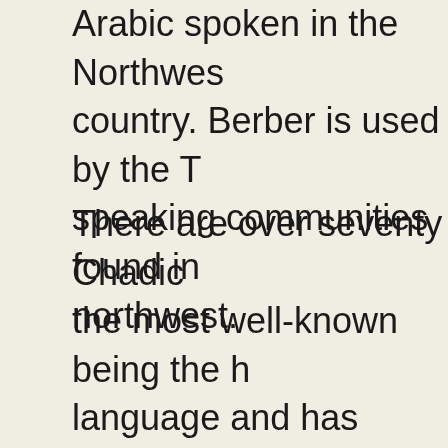Arabic spoken in the Northwest country. Berber is used by the T speaking communities found in northwest.
There are over seventy Chadic the most well-known being the H language and has emerged as l franca in West Africa. The langu spoken by over 24 million peopl Africa and is the second langua additional 15 million. It is spoke Muslims. Hausa is the official la